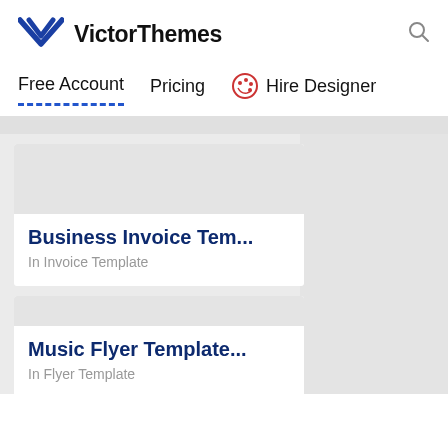VictorThemes
Free Account | Pricing | Hire Designer
Business Invoice Tem...
In Invoice Template
Music Flyer Template...
In Flyer Template